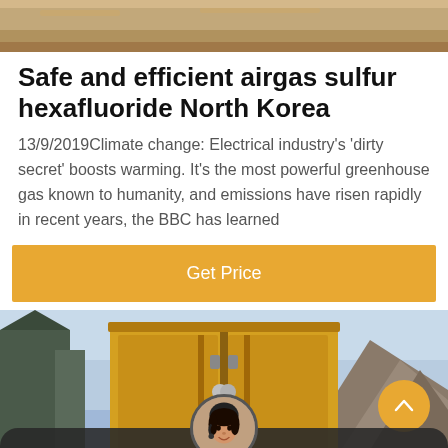[Figure (photo): Top partial photo showing sandy/earthy ground texture]
Safe and efficient airgas sulfur hexafluoride North Korea
13/9/2019Climate change: Electrical industry's 'dirty secret' boosts warming. It's the most powerful greenhouse gas known to humanity, and emissions have risen rapidly in recent years, the BBC has learned
[Figure (other): Orange 'Get Price' button]
[Figure (photo): Bottom photo showing yellow industrial gas container/truck with mountains and blue sky in background, chat bar overlay with Leave Message and Chat Online buttons, female customer service avatar in center]
Leave Message   Chat Online